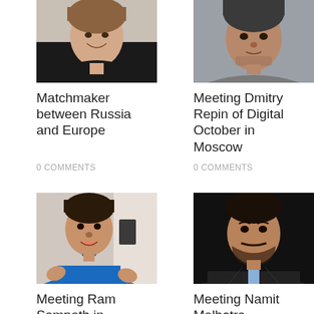[Figure (photo): Cropped photo of a woman smiling, dark top, outdoor background]
[Figure (photo): Cropped photo of a man with a slight smile, grey sweater]
Matchmaker between Russia and Europe
0 Comments
Meeting Dmitry Repin of Digital October in Moscow
0 Comments
[Figure (photo): Photo of a man in blue shirt gesturing with hands, indoor background]
[Figure (photo): Professional headshot of a man in suit against dark background]
Meeting Ram Sampath in Mumbai
0 Comments
Meeting Namit Malhotra
0 Comments
[Figure (photo): Partial photo strip at bottom left]
[Figure (photo): Partial photo strip at bottom right]